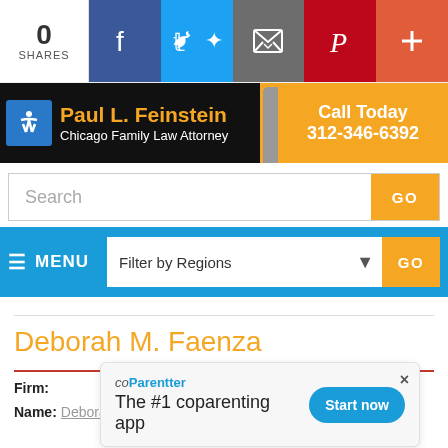0 SHARES | Facebook | Twitter | Email | Pinterest | +
[Figure (photo): Paul L. Feinstein Chicago Family Law Attorney advertisement banner with photo and Call Today 312-346-6392]
Search GO
MENU | Filter by Regions GO
Deborah M. Faenza
Firm:
Name: Deborah M. Faenza
[Figure (infographic): coParenter popup ad: The #1 coparenting app - Start now button]